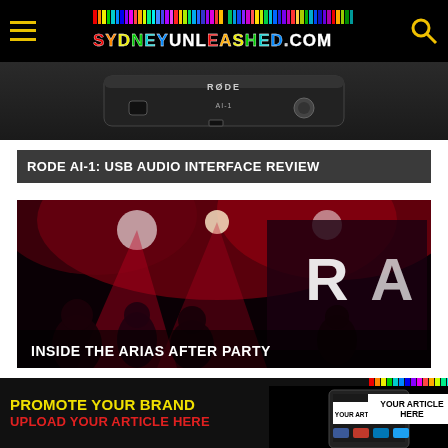SYDNEYUNLEASHED.COM
[Figure (photo): RODE AI-1 USB audio interface device, dark hardware product shot]
RODE AI-1: USB AUDIO INTERFACE REVIEW
[Figure (photo): Concert scene with colorful lights and crowd silhouettes, ARIAs event. Text overlay: INSIDE THE ARIAS AFTER PARTY]
[Figure (photo): Partially visible sandy/cloudy landscape image]
PROMOTE YOUR BRAND UPLOAD YOUR ARTICLE HERE | YOUR ARTICLE HERE